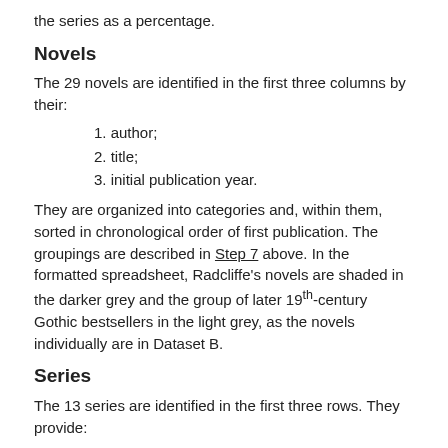the series as a percentage.
Novels
The 29 novels are identified in the first three columns by their:
1. author;
2. title;
3. initial publication year.
They are organized into categories and, within them, sorted in chronological order of first publication. The groupings are described in Step 7 above. In the formatted spreadsheet, Radcliffe's novels are shaded in the darker grey and the group of later 19th-century Gothic bestsellers in the light grey, as the novels individually are in Dataset B.
Series
The 13 series are identified in the first three rows. They provide:
1. Its title or the name of the publisher or the editor: